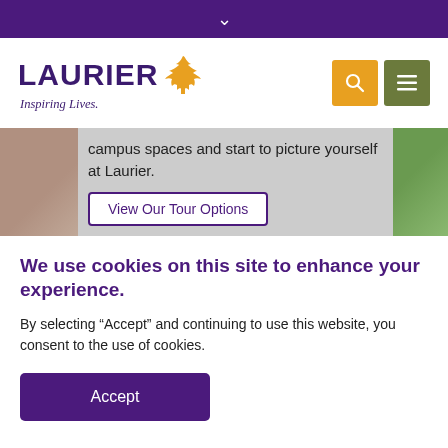▾
[Figure (logo): Wilfrid Laurier University logo with maple leaf and tagline 'Inspiring Lives.']
campus spaces and start to picture yourself at Laurier.
View Our Tour Options
We use cookies on this site to enhance your experience.
By selecting “Accept” and continuing to use this website, you consent to the use of cookies.
Accept